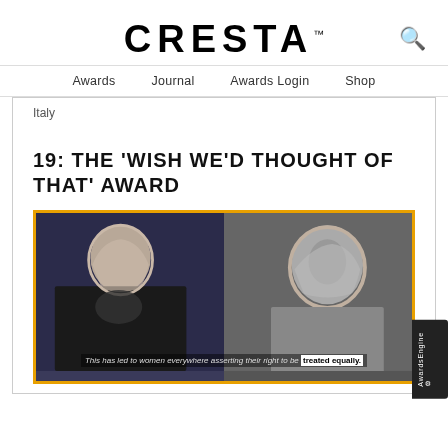CRESTA™
Awards   Journal   Awards Login   Shop
Italy
19: THE 'WISH WE'D THOUGHT OF THAT' AWARD
[Figure (photo): Video still showing two women wearing hijabs at what appears to be a conference or awards ceremony. Subtitle reads: 'This has led to women everywhere asserting their right to be treated equally.']